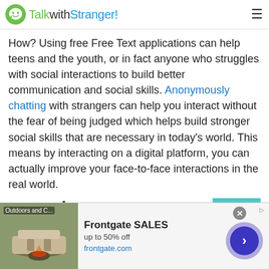TalkwithStranger!
How? Using free Free Text applications can help teens and the youth, or in fact anyone who struggles with social interactions to build better communication and social skills. Anonymously chatting with strangers can help you interact without the fear of being judged which helps build stronger social skills that are necessary in today’s world. This means by interacting on a digital platform, you can actually improve your face-to-face interactions in the real world.
Mosotho Free Text : A Way to Combat Loneliness
[Figure (screenshot): Advertisement banner: Frontgate SALES, up to 50% off, frontgate.com, with outdoor furniture image and navigation arrow button]